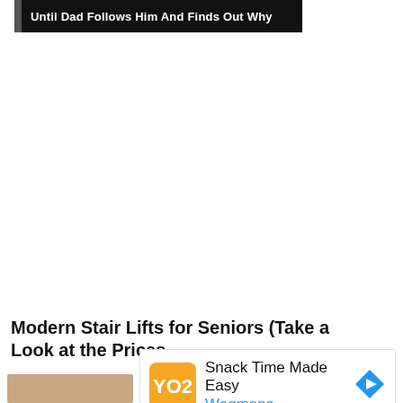[Figure (screenshot): Dark banner image with white bold text reading 'Until Dad Follows Him And Finds Out Why' with a vertical gray bar on the left side]
Modern Stair Lifts for Seniors (Take a Look at the Prices
Sponsored
[Figure (screenshot): Advertisement overlay showing Wegmans ad with orange logo, text 'Snack Time Made Easy' and 'Wegmans' in blue, blue diamond arrow icon, play button and close X controls]